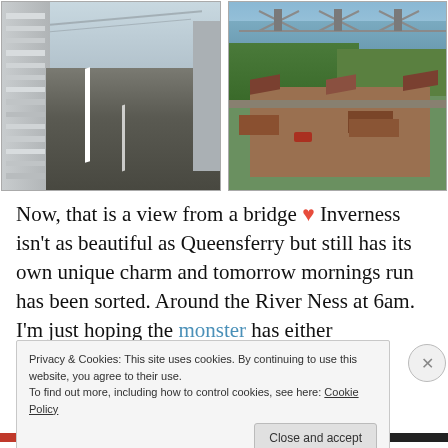[Figure (photo): Left: View from a bridge road surface with white lane markings, metal railings on sides, cables and structure visible. Right: Aerial view of houses/residential area with Forth Rail Bridge visible in background over water.]
Now, that is a view from a bridge ❤ Inverness isn't as beautiful as Queensferry but still has its own unique charm and tomorrow mornings run has been sorted. Around the River Ness at 6am. I'm just hoping the monster has either
Privacy & Cookies: This site uses cookies. By continuing to use this website, you agree to their use.
To find out more, including how to control cookies, see here: Cookie Policy
Close and accept